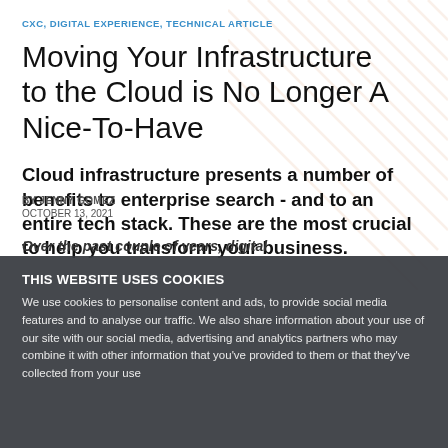CXC, DIGITAL EXPERIENCE, TECHNICAL ARTICLE
Moving Your Infrastructure to the Cloud is No Longer A Nice-To-Have
Cloud infrastructure presents a number of benefits to enterprise search - and to an entire tech stack. These are the most crucial to help you transform your business.
BY JENNY GOMEZ
OCTOBER 13, 2021
THIS WEBSITE USES COOKIES
We use cookies to personalise content and ads, to provide social media features and to analyse our traffic. We also share information about your use of our site with our social media, advertising and analytics partners who may combine it with other information that you've provided to them or that they've collected from your use
Over the past couple of years, digital...